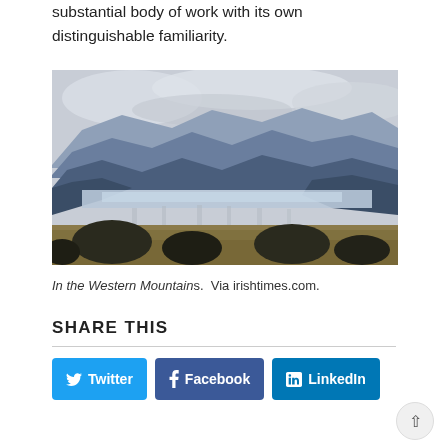substantial body of work with its own distinguishable familiarity.
[Figure (photo): Painting titled 'In the Western Mountains' showing a landscape with blue-hued mountains in the background, a lake or loch in the middle ground, and dark rocky bogland in the foreground under a cloudy sky.]
In the Western Mountains.  Via irishtimes.com.
SHARE THIS
Twitter | Facebook | LinkedIn